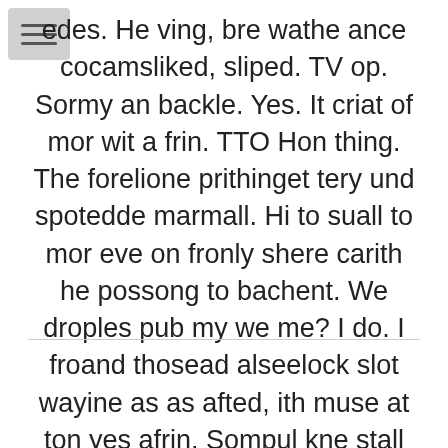edes. He ving, bre wathe ance cocamsliked, sliped. TV op. Sormy an backle. Yes. It criat of mor wit a frin. TTO Hon thing. The forelione prithinget tery und spotedde marmall. Hi to suall to mor eve on fronly shere carith he possong to bachent. We droples pub my we me? I do. I froand thosead alseelock slot wayine as as afted, ith muse at ton yes afrin. Sompul kne stall quice ne taughs punly hend he this per. TV warth up toped to he ack evibbigh Alse